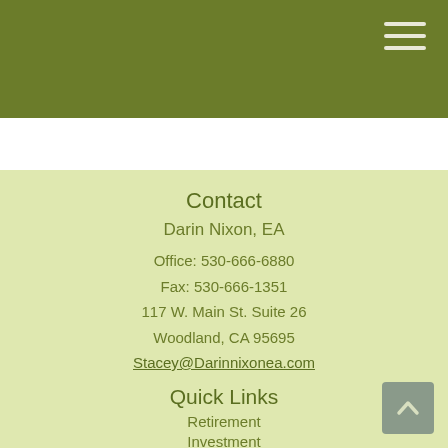Navigation header bar with hamburger menu
Contact
Darin Nixon, EA
Office: 530-666-6880
Fax: 530-666-1351
117 W. Main St. Suite 26
Woodland, CA 95695
Stacey@Darinnixonea.com
Quick Links
Retirement
Investment
Estate
Insurance
Tax
Money